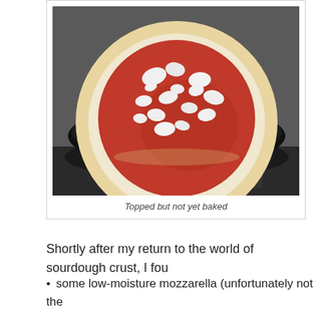[Figure (photo): A pizza with tomato sauce and white cheese (ricotta or mozzarella) on a round dough, placed in a black cast iron skillet or electric griddle, before baking.]
Topped but not yet baked
Shortly after my return to the world of sourdough crust, I fou
some low-moisture mozzarella (unfortunately not the up),